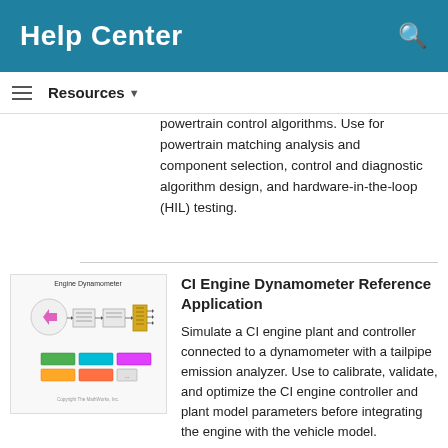Help Center
Resources
powertrain control algorithms. Use for powertrain matching analysis and component selection, control and diagnostic algorithm design, and hardware-in-the-loop (HIL) testing.
[Figure (screenshot): Engine Dynamometer block diagram screenshot from MATLAB/Simulink showing engine controller connected to dynamometer, with colored subsystem blocks (green, cyan, pink, orange) at the bottom.]
CI Engine Dynamometer Reference Application
Simulate a CI engine plant and controller connected to a dynamometer with a tailpipe emission analyzer. Use to calibrate, validate, and optimize the CI engine controller and plant model parameters before integrating the engine with the vehicle model.